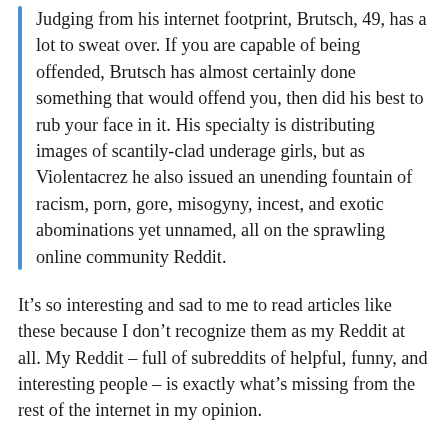Judging from his internet footprint, Brutsch, 49, has a lot to sweat over. If you are capable of being offended, Brutsch has almost certainly done something that would offend you, then did his best to rub your face in it. His specialty is distributing images of scantily-clad underage girls, but as Violentacrez he also issued an unending fountain of racism, porn, gore, misogyny, incest, and exotic abominations yet unnamed, all on the sprawling online community Reddit.
It’s so interesting and sad to me to read articles like these because I don’t recognize them as my Reddit at all. My Reddit – full of subreddits of helpful, funny, and interesting people – is exactly what’s missing from the rest of the internet in my opinion.
In a post about Reddit in 2015, Lauren...